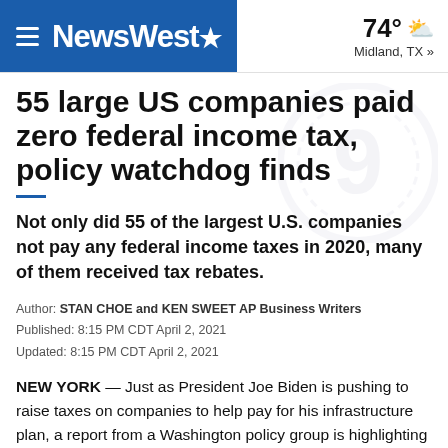NewsWest9 | 74° Midland, TX »
55 large US companies paid zero federal income tax, policy watchdog finds
Not only did 55 of the largest U.S. companies not pay any federal income taxes in 2020, many of them received tax rebates.
Author: STAN CHOE and KEN SWEET AP Business Writers
Published: 8:15 PM CDT April 2, 2021
Updated: 8:15 PM CDT April 2, 2021
NEW YORK — Just as President Joe Biden is pushing to raise taxes on companies to help pay for his infrastructure plan, a report from a Washington policy group is highlighting how many firms pay zero despite making big pretax profits.